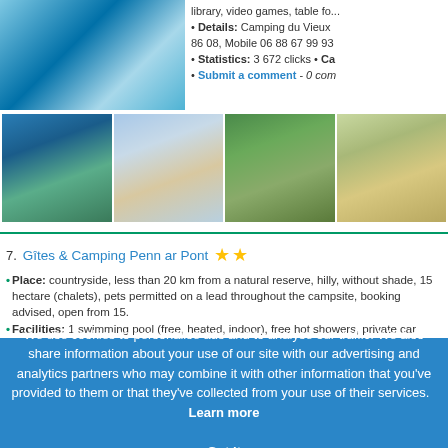[Figure (photo): Main photo of water slide, blue tones]
[Figure (photo): Thumbnail: outdoor pool with palm trees]
[Figure (photo): Thumbnail: beach/coastline]
[Figure (photo): Thumbnail: green campsite]
[Figure (photo): Thumbnail: chalets/cottages]
Details: Camping du Vieux 86 08, Mobile 06 88 67 99 93
Statistics: 3 672 clicks • Ca...
Submit a comment - 0 com...
7. Gîtes & Camping Penn ar Pont ★★
• Place: countryside, less than 20 km from a natural reserve, hilly, without shade, 15 hectares (chalets), pets permitted on a lead throughout the campsite, booking advised, open from 15...
• Facilities: 1 swimming pool (free, heated, indoor), free hot showers, private car park, elect... disabled persons, playground, meeting room - Services: bread, ice supply, washing-machine... Diner's Club, American Express, exchange, French holiday cheques
• Activities: petanque, hike, tennis, table tennis, volleyball, football, basketball, aquagym, fis... board games, cards - Close by: bowling, golf, archery, mountain bike, horse riding, climbing...
• Details: Gîtes & Camping Penn ar Pont, Penn ar Pont, 29520 Châteauneuf-du-Faou, Finis...
• Statistics: 3 790 clicks • Category: Camping France > Camping Brittany > Camping Finist...
Submit a comment - 0 comment to read
We use cookies to personalise ads and to analyse our traffic. We also share information about your use of our site with our advertising and analytics partners who may combine it with other information that you've provided to them or that they've collected from your use of their services. Learn more   Got it